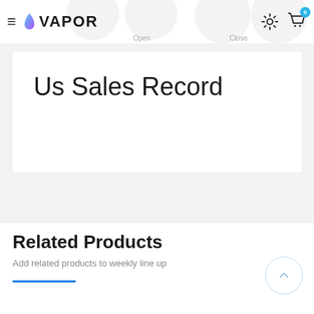VAPOR
Us Sales Record
Related Products
Add related products to weekly line up